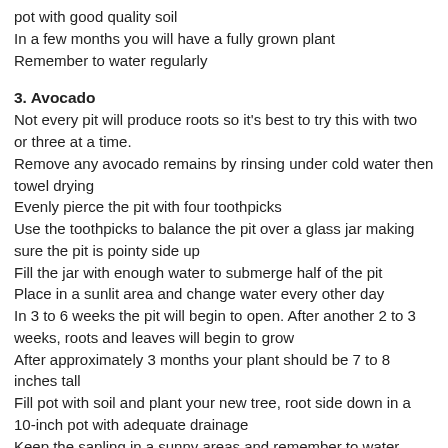pot with good quality soil
In a few months you will have a fully grown plant
Remember to water regularly
3. Avocado
Not every pit will produce roots so it's best to try this with two or three at a time.
Remove any avocado remains by rinsing under cold water then towel drying
Evenly pierce the pit with four toothpicks
Use the toothpicks to balance the pit over a glass jar making sure the pit is pointy side up
Fill the jar with enough water to submerge half of the pit
Place in a sunlit area and change water every other day
In 3 to 6 weeks the pit will begin to open. After another 2 to 3 weeks, roots and leaves will begin to grow
After approximately 3 months your plant should be 7 to 8 inches tall
Fill pot with soil and plant your new tree, root side down in a 10-inch pot with adequate drainage
Keep the sapling in a sunny areas and remember to water regularly